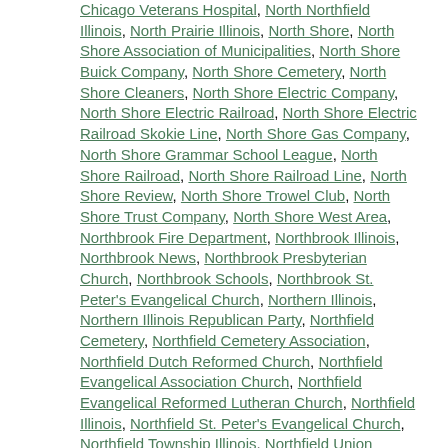Chicago Veterans Hospital, North Northfield Illinois, North Prairie Illinois, North Shore, North Shore Association of Municipalities, North Shore Buick Company, North Shore Cemetery, North Shore Cleaners, North Shore Electric Company, North Shore Electric Railroad, North Shore Electric Railroad Skokie Line, North Shore Gas Company, North Shore Grammar School League, North Shore Railroad, North Shore Railroad Line, North Shore Review, North Shore Trowel Club, North Shore Trust Company, North Shore West Area, Northbrook Fire Department, Northbrook Illinois, Northbrook News, Northbrook Presbyterian Church, Northbrook Schools, Northbrook St. Peter's Evangelical Church, Northern Illinois, Northern Illinois Republican Party, Northfield Cemetery, Northfield Cemetery Association, Northfield Dutch Reformed Church, Northfield Evangelical Association Church, Northfield Evangelical Reformed Lutheran Church, Northfield Illinois, Northfield St. Peter's Evangelical Church, Northfield Township Illinois, Northfield Union Cemetery, Northfield Union Cemetery Association, Northfield Union Cemetery Association Charter, Northfield United Evangelical Reformed Church, Northmoor Golf Club, Northwestern